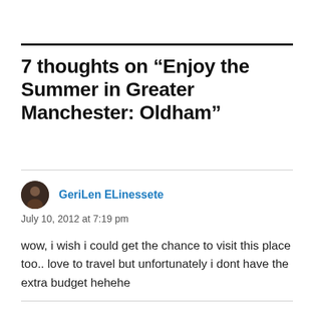7 thoughts on “Enjoy the Summer in Greater Manchester: Oldham”
GeriLen ELinessete
July 10, 2012 at 7:19 pm
wow, i wish i could get the chance to visit this place too.. love to travel but unfortunately i dont have the extra budget hehehe